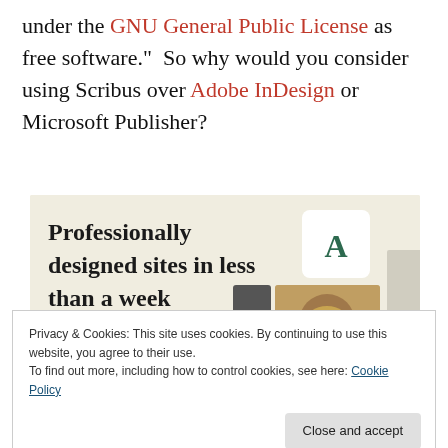under the GNU General Public License as free software.”  So why would you consider using Scribus over Adobe InDesign or Microsoft Publisher?
[Figure (screenshot): Advertisement banner with beige background showing text 'Professionally designed sites in less than a week' with a green 'Explore options' button and a screenshot mockup of a website.]
Privacy & Cookies: This site uses cookies. By continuing to use this website, you agree to their use.
To find out more, including how to control cookies, see here: Cookie Policy
Close and accept
B